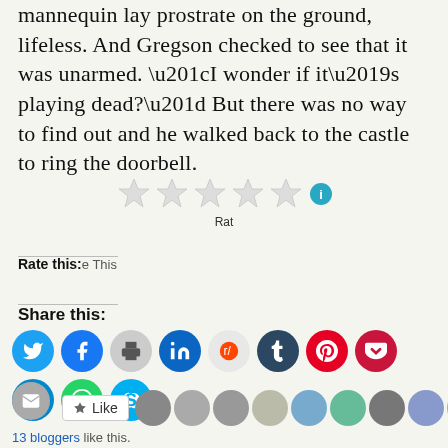mannequin lay prostrate on the ground, lifeless. And Gregson checked to see that it was unarmed. “I wonder if it’s playing dead?” But there was no way to find out and he walked back to the castle to ring the doorbell.
[Figure (other): Five empty star rating icons with an info icon and 'Rat' label below]
Rate this:e This
Share this:
[Figure (infographic): Row of social media share buttons: Twitter, Facebook, Print, LinkedIn, Reddit, Tumblr, Pinterest, Pocket, Telegram, WhatsApp, Skype, Email]
Like
13 bloggers like this.